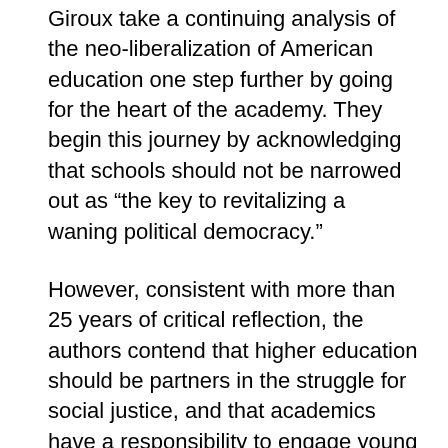Giroux take a continuing analysis of the neo-liberalization of American education one step further by going for the heart of the academy. They begin this journey by acknowledging that schools should not be narrowed out as “the key to revitalizing a waning political democracy.”
However, consistent with more than 25 years of critical reflection, the authors contend that higher education should be partners in the struggle for social justice, and that academics have a responsibility to engage young people in that struggle.
Giroux and Giroux charges the reader to look